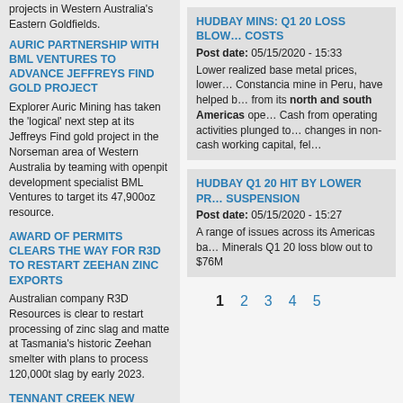projects in Western Australia's Eastern Goldfields.
AURIC PARTNERSHIP WITH BML VENTURES TO ADVANCE JEFFREYS FIND GOLD PROJECT
Explorer Auric Mining has taken the 'logical' next step at its Jeffreys Find gold project in the Norseman area of Western Australia by teaming with openpit development specialist BML Ventures to target its 47,900oz resource.
AWARD OF PERMITS CLEARS THE WAY FOR R3D TO RESTART ZEEHAN ZINC EXPORTS
Australian company R3D Resources is clear to restart processing of zinc slag and matte at Tasmania's historic Zeehan smelter with plans to process 120,000t slag by early 2023.
TENNANT CREEK NEW…
HUDBAY MINS: Q1 20 LOSS BLOW… COSTS
Post date: 05/15/2020 - 15:33
Lower realized base metal prices, lower… Constancia mine in Peru, have helped b… from its north and south Americas ope… Cash from operating activities plunged to… changes in non-cash working capital, fel…
HUDBAY Q1 20 HIT BY LOWER PR… SUSPENSION
Post date: 05/15/2020 - 15:27
A range of issues across its Americas ba… Minerals Q1 20 loss blow out to $76M
1  2  3  4  5